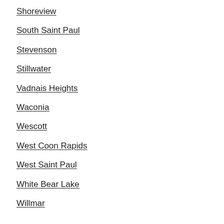Shoreview
South Saint Paul
Stevenson
Stillwater
Vadnais Heights
Waconia
Wescott
West Coon Rapids
West Saint Paul
White Bear Lake
Willmar